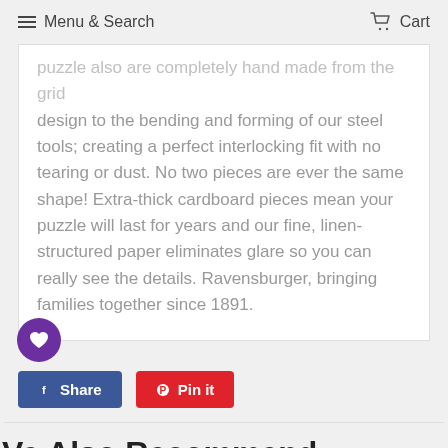Menu & Search   Cart
puzzle also are completely hand made from the grid design to the bending and forming of our steel tools; creating a perfect interlocking fit with no tearing or dust. No two pieces are ever the same shape! Extra-thick cardboard pieces mean your puzzle will last for years and our fine, linen-structured paper eliminates glare so you can really see the details. Ravensburger, bringing families together since 1891.
Share  Pin it
We Also Recommend
1 flybuys   2 flybuys